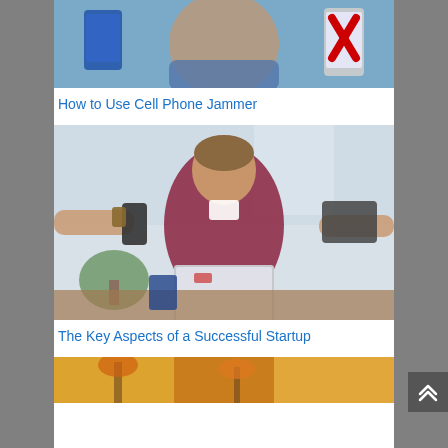[Figure (photo): Man looking surprised/frustrated holding multiple smartphones, one with a red X on it, suggesting phone jamming]
How to Use Cell Phone Jammer
[Figure (photo): Person in maroon sweater smiling working on laptop surrounded by colleagues holding phones and tablets]
The Key Aspects of a Successful Startup
[Figure (photo): Autumn outdoor scene, partially visible at bottom of page]